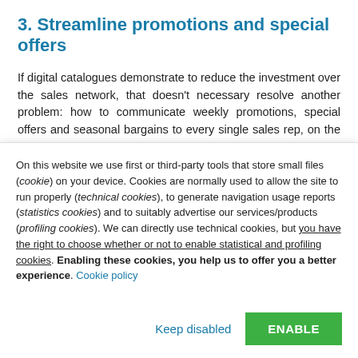3. Streamline promotions and special offers
If digital catalogues demonstrate to reduce the investment over the sales network, that doesn't necessary resolve another problem: how to communicate weekly promotions, special offers and seasonal bargains to every single sales rep, on the exact day they offer it...?
On this website we use first or third-party tools that store small files (cookie) on your device. Cookies are normally used to allow the site to run properly (technical cookies), to generate navigation usage reports (statistics cookies) and to suitably advertise our services/products (profiling cookies). We can directly use technical cookies, but you have the right to choose whether or not to enable statistical and profiling cookies. Enabling these cookies, you help us to offer you a better experience. Cookie policy